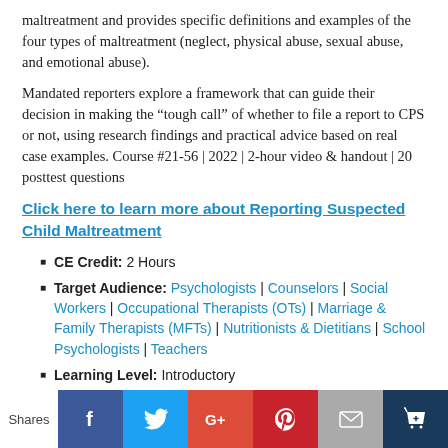maltreatment and provides specific definitions and examples of the four types of maltreatment (neglect, physical abuse, sexual abuse, and emotional abuse).
Mandated reporters explore a framework that can guide their decision in making the “tough call” of whether to file a report to CPS or not, using research findings and practical advice based on real case examples. Course #21-56 | 2022 | 2-hour video & handout | 20 posttest questions
Click here to learn more about Reporting Suspected Child Maltreatment
CE Credit: 2 Hours
Target Audience: Psychologists | Counselors | Social Workers | Occupational Therapists (OTs) | Marriage & Family Therapists (MFTs) | Nutritionists & Dietitians | School Psychologists | Teachers
Learning Level: Introductory
Course Type: Video
[Figure (infographic): Social sharing bar with Shares label and buttons for Facebook, Twitter, Google+, Pinterest, Email, and a crown/bookmark icon]